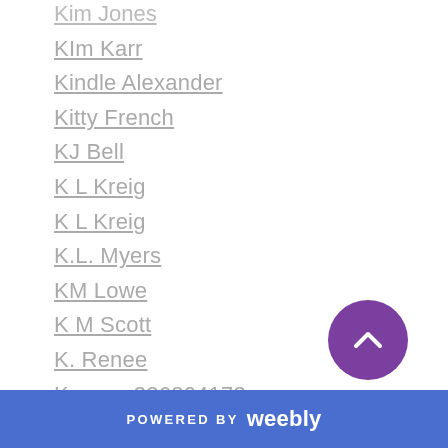Kim Jones
KIm Karr
Kindle Alexander
Kitty French
KJ Bell
K L Kreig
K L Kreig
K.L. Myers
KM Lowe
K M Scott
K. Renee
K-renee336304173e
Krista & Becca Ritchie
Kristen Ashley
Kristen Callihan
Kristen Hope Mazzola
Kristen Proby
POWERED BY weebly